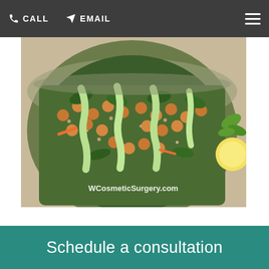CALL  EMAIL
[Figure (photo): Close-up photo of a healthy food bowl containing chickpeas, quinoa, kale, spinach, carrots, topped with green avocado cream sauce drizzled in lines. Lemon slices and cilantro visible in background. Watermark text reads WCosmeticSurgery.com]
Schedule a consultation